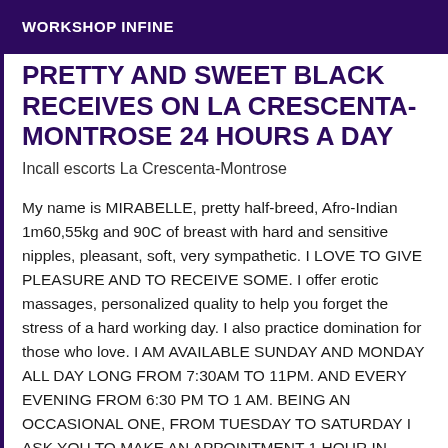WORKSHOP INFINE
PRETTY AND SWEET BLACK RECEIVES ON LA CRESCENTA-MONTROSE 24 HOURS A DAY
Incall escorts La Crescenta-Montrose
My name is MIRABELLE, pretty half-breed, Afro-Indian 1m60,55kg and 90C of breast with hard and sensitive nipples, pleasant, soft, very sympathetic. I LOVE TO GIVE PLEASURE AND TO RECEIVE SOME. I offer erotic massages, personalized quality to help you forget the stress of a hard working day. I also practice domination for those who love. I AM AVAILABLE SUNDAY AND MONDAY ALL DAY LONG FROM 7:30AM TO 11PM. AND EVERY EVENING FROM 6:30 PM TO 1 AM. BEING AN OCCASIONAL ONE, FROM TUESDAY TO SATURDAY I ASK YOU TO MAKE AN APPOINTMENT 1 HOUR IN ADVANCE, IN THE MORNING FOR THE AFTERNOON OR THE DAY